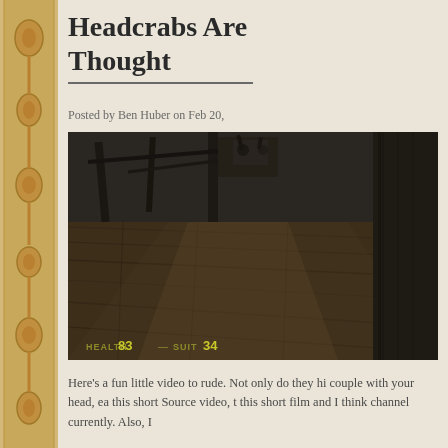Headcrabs Are Thought
Posted by Ben Huber on Feb 20,
[Figure (screenshot): A screenshot from a Source engine video game (Half-Life 2), showing a first-person view of a wooden floor and a structure, with yellow HUD numbers showing health 83 and ammo 34 in the bottom left area.]
Here's a fun little video to rude. Not only do they hi couple with your head, ea this short Source video, t this short film and I think channel currently. Also, I